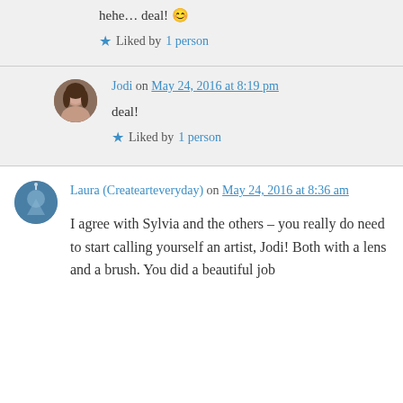hehe… deal! 😊
★ Liked by 1 person
Jodi on May 24, 2016 at 8:19 pm
deal!
★ Liked by 1 person
Laura (Createarteveryday) on May 24, 2016 at 8:36 am
I agree with Sylvia and the others – you really do need to start calling yourself an artist, Jodi! Both with a lens and a brush. You did a beautiful job